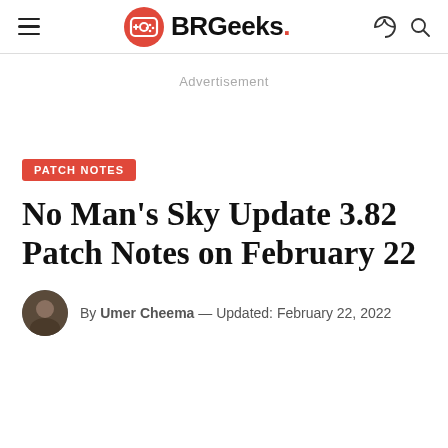BRGeeks.
Advertisement
PATCH NOTES
No Man’s Sky Update 3.82 Patch Notes on February 22
By Umer Cheema — Updated: February 22, 2022